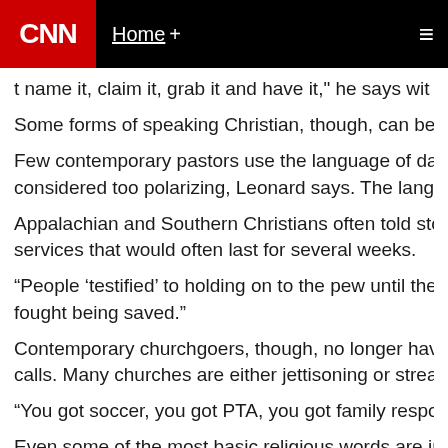CNN | Home +
t name it, claim it, grab it and have it," he says wit
Some forms of speaking Christian, though, can become obs
Few contemporary pastors use the language of damnation considered too polarizing, Leonard says. The language of "
Appalachian and Southern Christians often told stories abou services that would often last for several weeks.
“People ‘testified’ to holding on to the pew until their knuck fought being saved.”
Contemporary churchgoers, though, no longer have time to calls. Many churches are either jettisoning or streamlining t
“You got soccer, you got PTA, you got family responsibilities
Even some of the most basic religious words are in jeopard
Calling yourself a Christian, for example, is no longer cool a